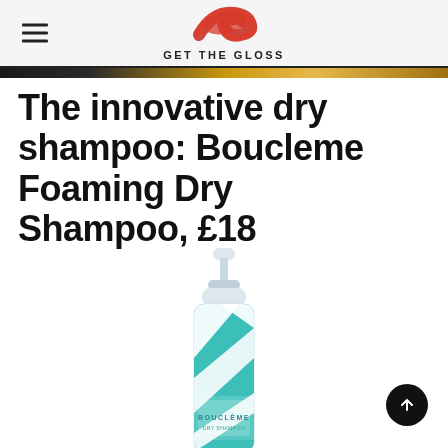GET THE GLOSS
The innovative dry shampoo: Boucleme Foaming Dry Shampoo, £18
[Figure (photo): Bouclème Foaming Dry Shampoo bottle with teal and white diagonal stripe pattern and pump dispenser]